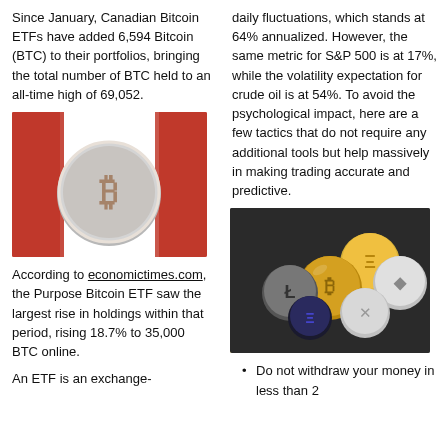Since January, Canadian Bitcoin ETFs have added 6,594 Bitcoin (BTC) to their portfolios, bringing the total number of BTC held to an all-time high of 69,052.
[Figure (photo): A Bitcoin coin (physical representation) in front of a blurred Canadian flag background, red and white colors.]
According to economictimes.com, the Purpose Bitcoin ETF saw the largest rise in holdings within that period, rising 18.7% to 35,000 BTC online.
An ETF is an exchange-
daily fluctuations, which stands at 64% annualized. However, the same metric for S&P 500 is at 17%, while the volatility expectation for crude oil is at 54%. To avoid the psychological impact, here are a few tactics that do not require any additional tools but help massively in making trading accurate and predictive.
[Figure (photo): A pile of various cryptocurrency coins including Bitcoin, Ethereum, Litecoin, Ripple and others, gold and silver colored, on a dark background.]
Do not withdraw your money in less than 2